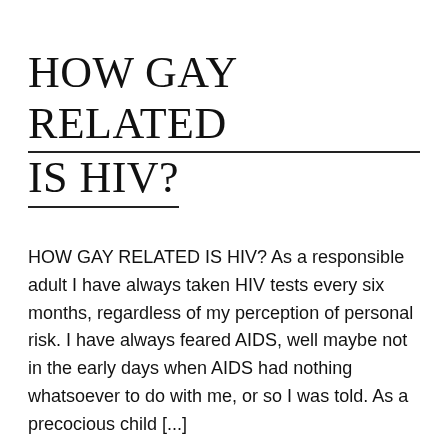HOW GAY RELATED IS HIV?
HOW GAY RELATED IS HIV? As a responsible adult I have always taken HIV tests every six months, regardless of my perception of personal risk. I have always feared AIDS, well maybe not in the early days when AIDS had nothing whatsoever to do with me, or so I was told. As a precocious child [...]